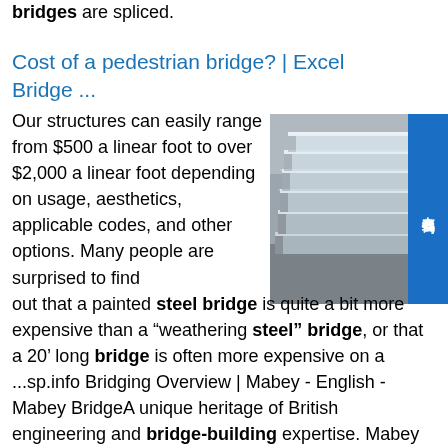bridges are spliced.
Cost of a pedestrian bridge? | Excel Bridge ...
Our structures can easily range from $500 a linear foot to over $2,000 a linear foot depending on usage, aesthetics, applicable codes, and other options. Many people are surprised to find out that a painted steel bridge is quite a bit more expensive than a “weathering steel” bridge, or that a 20’ long bridge is often more expensive on a ...sp.info Bridging Overview | Mabey - English - Mabey BridgeA unique heritage of British engineering and bridge-building expertise. Mabey Bridge has developed unparalleled expertise in modular steel bridge design, test and manufacture. We are proud of our state-of-the-art manufacturing capability, and vast international experience
[Figure (photo): Stack of grey/silver metal channel steel sections or bridge structural components piled outdoors]